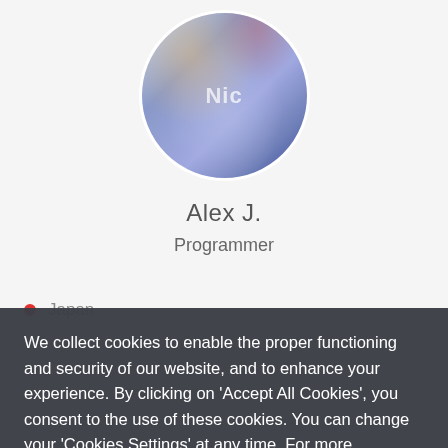[Figure (photo): Circular profile avatar photo showing a person wearing blue/white clothing against a colorful background, partially cropped at top]
Alex J.
Programmer
Japan
We collect cookies to enable the proper functioning and security of our website, and to enhance your experience. By clicking on 'Accept All Cookies', you consent to the use of these cookies. You can change your 'Cookies Settings' at any time. For more information, please read our Cookie Policy
Cookie Settings
ACCEPT ALL COOKIES